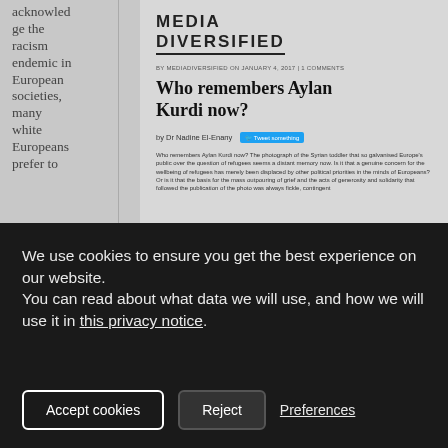acknowledge the racism endemic in European societies, many white Europeans prefer to
MEDIA DIVERSIFIED
BY MEDIADIVERSIFIED ON JANUARY 4, 2017 | 1 COMMENTS
Who remembers Aylan Kurdi now?
by Dr Nadine El-Enany
Who remembers Aylan Kurdi now? The photograph of the Syrian toddler that so galvanised Europe's public over the question of refugees seems a distant memory now. Is it that a genuine concern for the wellbeing of refugees has merely been displaced by other political priorities in the minds of Europeans? Or is it that the basis for the mass outpouring of grief and the acts of generosity and solidarity that followed the publication of the photo was always fickle, contingent
We use cookies to ensure you get the best experience on our website.
You can read about what data we will use, and how we will use it in this privacy notice.
Accept cookies
Reject
Preferences